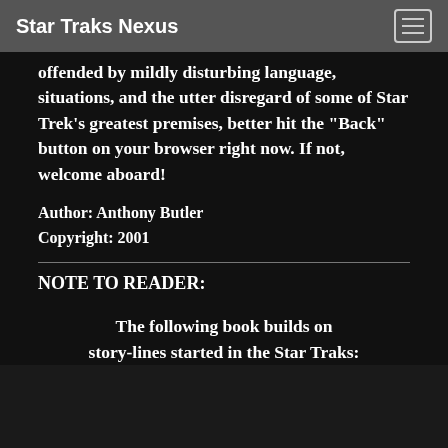Star Traks Nexus
offended by mildly disturbing language, situations, and the utter disregard of some of Star Trek's greatest premises, better hit the "Back" button on your browser right now. If not, welcome aboard!
Author: Anthony Butler
Copyright: 2001
NOTE TO READER:
The following book builds on story-lines started in the Star Traks: